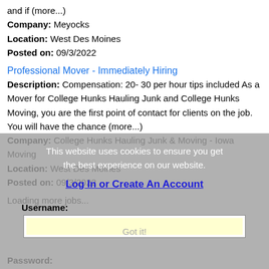and if (more...)
Company: Meyocks
Location: West Des Moines
Posted on: 09/3/2022
Professional Mover - Immediately Hiring
Description: Compensation: 20- 30 per hour tips included As a Mover for College Hunks Hauling Junk and College Hunks Moving, you are the first point of contact for clients on the job. You will have the chance (more...)
Company: College Hunks Hauling Junk & Moving - Iowa Moving
Location: West Des Moines
Posted on: 09/3/2022
Loading more jobs...
This website uses cookies to ensure you get the best experience on our website.
Log In or Create An Account
Username:
Got it!
Password: